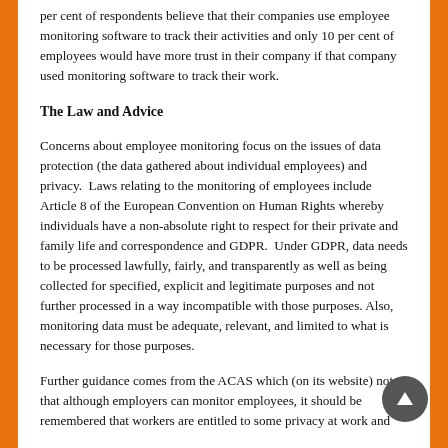per cent of respondents believe that their companies use employee monitoring software to track their activities and only 10 per cent of employees would have more trust in their company if that company used monitoring software to track their work.
The Law and Advice
Concerns about employee monitoring focus on the issues of data protection (the data gathered about individual employees) and privacy.  Laws relating to the monitoring of employees include Article 8 of the European Convention on Human Rights whereby individuals have a non-absolute right to respect for their private and family life and correspondence and GDPR.  Under GDPR, data needs to be processed lawfully, fairly, and transparently as well as being collected for specified, explicit and legitimate purposes and not further processed in a way incompatible with those purposes.  Also, monitoring data must be adequate, relevant, and limited to what is necessary for those purposes.
Further guidance comes from the ACAS which (on its website) notes that although employers can monitor employees, it should be remembered that workers are entitled to some privacy at work and